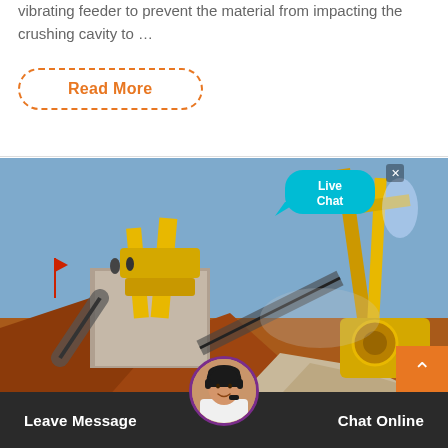vibrating feeder to prevent the material from impacting the crushing cavity to …
Read More
[Figure (photo): Industrial crushing/mining plant with yellow machinery, conveyor belts, piles of crushed stone and red earth. Workers visible on top of a concrete structure. Live Chat bubble overlay in top right. Scroll-to-top orange button in bottom right.]
Leave Message
Chat Online